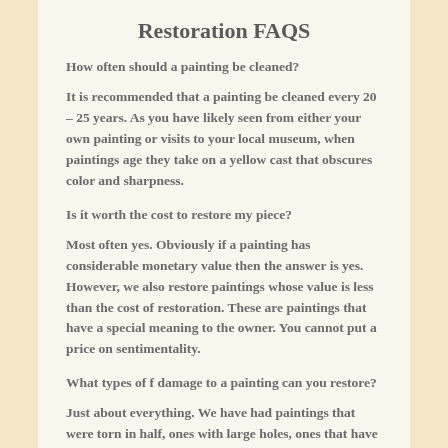Restoration FAQS
How often should a painting be cleaned?
It is recommended that a painting be cleaned every 20 – 25 years. As you have likely seen from either your own painting or visits to your local museum, when paintings age they take on a yellow cast that obscures color and sharpness.
Is it worth the cost to restore my piece?
Most often yes. Obviously if a painting has considerable monetary value then the answer is yes. However, we also restore paintings whose value is less than the cost of restoration. These are paintings that have a special meaning to the owner. You cannot put a price on sentimentality.
What types of f damage to a painting can you restore?
Just about everything. We have had paintings that were torn in half, ones with large holes, ones that have been